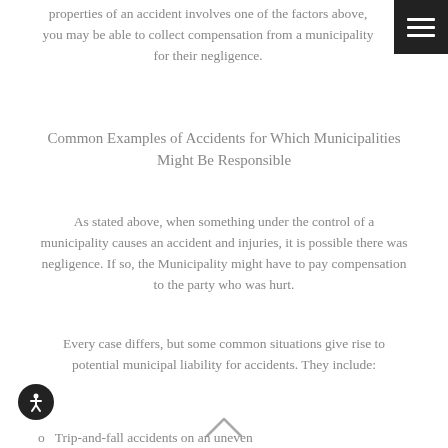properties of an accident involves one of the factors above, you may be able to collect compensation from a municipality for their negligence.
Common Examples of Accidents for Which Municipalities Might Be Responsible
As stated above, when something under the control of a municipality causes an accident and injuries, it is possible there was negligence. If so, the Municipality might have to pay compensation to the party who was hurt.
Every case differs, but some common situations give rise to potential municipal liability for accidents. They include:
Trip-and-fall accidents on an uneven